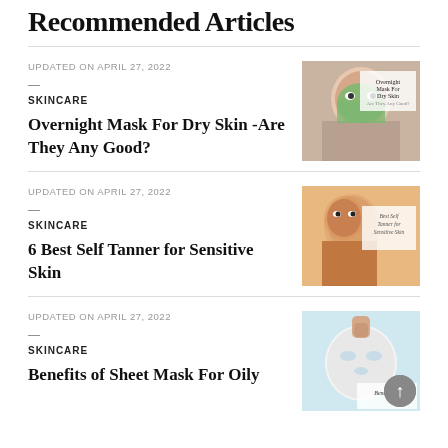Recommended Articles
UPDATED ON APRIL 27, 2022
SKINCARE
Overnight Mask For Dry Skin -Are They Any Good?
[Figure (photo): Woman with green face mask smiling, with overlay text reading 'Overnight Mask For Dry Skin -Are They Any Good?']
UPDATED ON APRIL 27, 2022
SKINCARE
6 Best Self Tanner for Sensitive Skin
[Figure (photo): Woman with tan skin on peach background with overlay text reading 'Best Self Tanner for Sensitive Skin']
UPDATED ON APRIL 27, 2022
SKINCARE
Benefits of Sheet Mask For Oily
[Figure (photo): Sheet face mask on light blue background with overlay text 'Benefits of...']